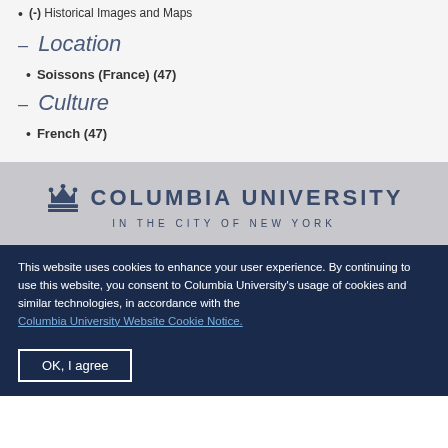(-) Historical Images and Maps
- Location
Soissons (France) (47)
- Culture
French (47)
[Figure (logo): Columbia University in the City of New York logo with crown icon]
This website uses cookies to enhance your user experience. By continuing to use this website, you consent to Columbia University's usage of cookies and similar technologies, in accordance with the Columbia University Website Cookie Notice.
OK, I agree